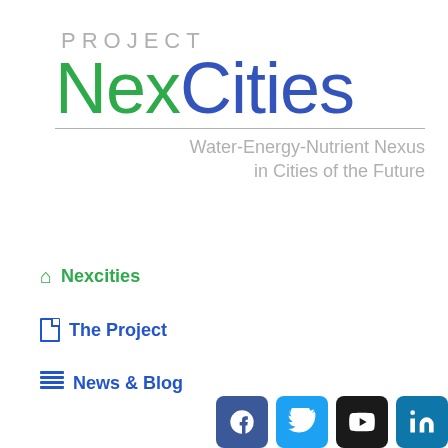[Figure (logo): Project NexCities logo with tagline: Water-Energy-Nutrient Nexus in Cities of the Future. 'Nex' is in green, 'Cities' is in blue, 'PROJECT' is in light gray above, tagline in gray below a horizontal rule.]
Nexcities
The Project
News & Blog
[Figure (other): Social media buttons: Facebook (dark blue), Twitter (light blue), YouTube (dark/black), LinkedIn (blue), partially visible at bottom right.]